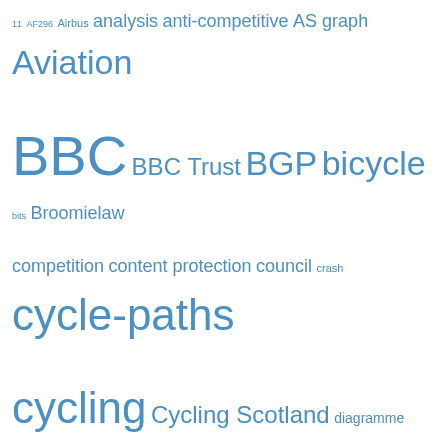[Figure (other): Tag cloud with terms related to internet, networking, cycling, aviation, BBC, safety, and other topics. Terms are displayed in various font sizes in blue color indicating frequency/weight.]